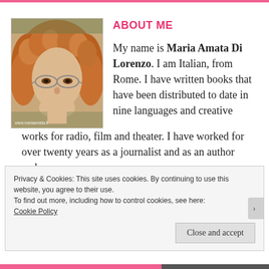ABOUT ME
[Figure (photo): Portrait photo of Maria Amata Di Lorenzo, a woman with curly reddish-blonde hair wearing glasses, with watermark www.mariaamata.it at bottom left]
My name is Maria Amata Di Lorenzo. I am Italian, from Rome. I have written books that have been distributed to date in nine languages and creative works for radio, film and theater. I have worked for over twenty years as a journalist and as an author and
Privacy & Cookies: This site uses cookies. By continuing to use this website, you agree to their use.
To find out more, including how to control cookies, see here:
Cookie Policy
Close and accept